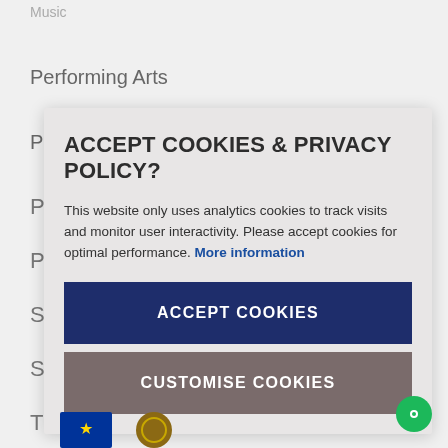Music
Performing Arts
Politics
P...
P...
S...
Sp...
T...
ACCEPT COOKIES & PRIVACY POLICY?
This website only uses analytics cookies to track visits and monitor user interactivity. Please accept cookies for optimal performance. More information
ACCEPT COOKIES
CUSTOMISE COOKIES